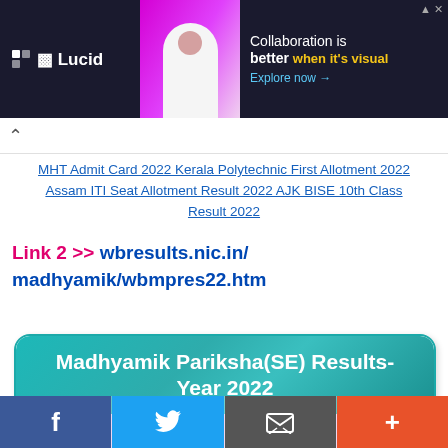[Figure (screenshot): Lucid advertisement banner with dark background, person silhouette, and text 'Collaboration is better when it's visual. Explore now →']
MHT Admit Card 2022 Kerala Polytechnic First Allotment 2022 Assam ITI Seat Allotment Result 2022 AJK BISE 10th Class Result 2022
Link 2 >> wbresults.nic.in/madhyamik/wbmpres22.htm
[Figure (screenshot): Madhyamik Pariksha(SE) Results-Year 2022 teal header card with pink/lavender body]
Facebook | Twitter | Email | More